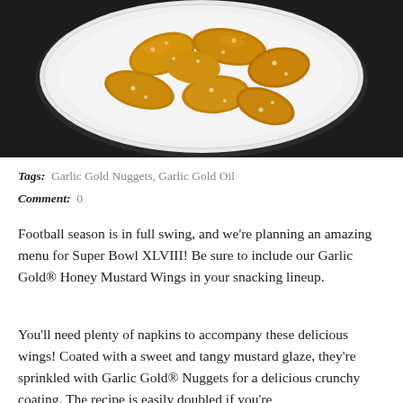[Figure (photo): Overhead view of a white plate with honey mustard chicken wings sprinkled with sesame seeds/Garlic Gold Nuggets, on a dark background]
Tags: Garlic Gold Nuggets, Garlic Gold Oil
Comment: 0
Football season is in full swing, and we're planning an amazing menu for Super Bowl XLVIII! Be sure to include our Garlic Gold® Honey Mustard Wings in your snacking lineup.
You'll need plenty of napkins to accompany these delicious wings! Coated with a sweet and tangy mustard glaze, they're sprinkled with Garlic Gold® Nuggets for a delicious crunchy coating. The recipe is easily doubled if you're